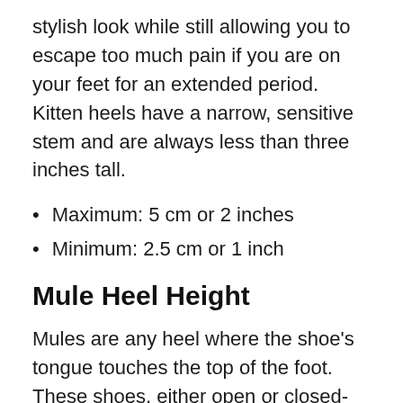stylish look while still allowing you to escape too much pain if you are on your feet for an extended period. Kitten heels have a narrow, sensitive stem and are always less than three inches tall.
Maximum: 5 cm or 2 inches
Minimum: 2.5 cm or 1 inch
Mule Heel Height
Mules are any heel where the shoe’s tongue touches the top of the foot. These shoes, either open or closed-toe, are an excellent choice for people who wish to show off their footwear’s gorgeous fabric or canvas.
These shoes are stunning in soft Moroccan